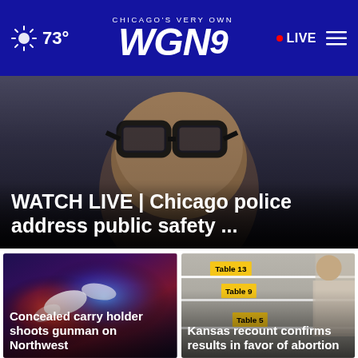73° Chicago's Very Own WGN9 LIVE
[Figure (photo): Close-up photo of a person wearing glasses, dark background]
WATCH LIVE | Chicago police address public safety ...
[Figure (photo): Police car lights at night, blurred red and blue lights]
Concealed carry holder shoots gunman on Northwest
[Figure (photo): Voting tables with yellow signs reading Table 13, Table 9, Table 5]
Kansas recount confirms results in favor of abortion